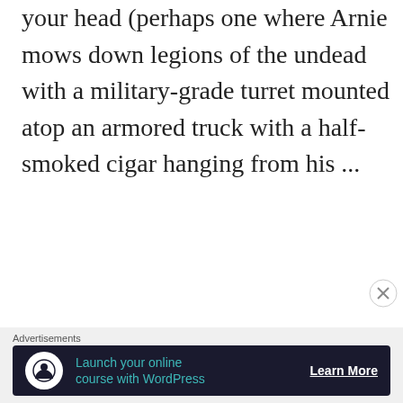your head (perhaps one where Arnie mows down legions of the undead with a military-grade turret mounted atop an armored truck with a half-smoked cigar hanging from his ...
CONTINUE READING
Share this:
[Figure (illustration): Twitter and Facebook share buttons as blue circular icons]
Advertisements
[Figure (illustration): Advertisement banner: dark background with WordPress online course ad, showing a person icon, text 'Launch your online course with WordPress', and 'Learn More' button]